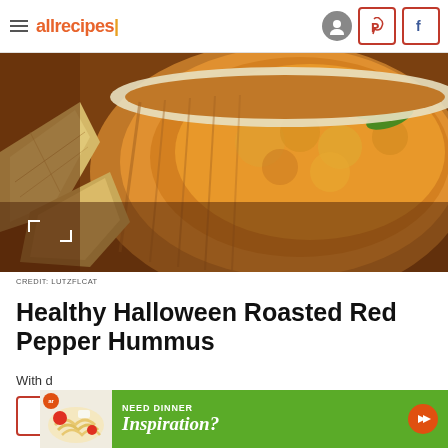allrecipes
[Figure (photo): Close-up photo of roasted red pepper hummus in a ceramic bowl with pita bread pieces on the side, garnished with herbs]
CREDIT: LUTZFLCAT
Healthy Halloween Roasted Red Pepper Hummus
VIEW RECIPE
[Figure (infographic): Advertisement banner: NEED DINNER Inspiration? with food photo and arrow button]